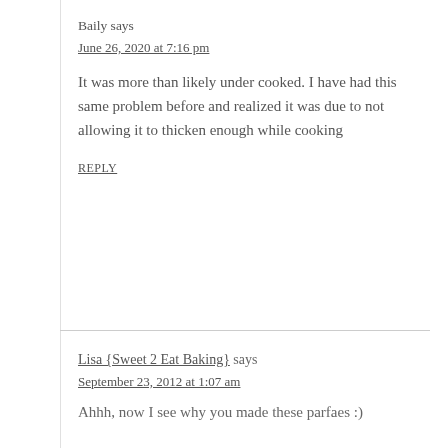Baily says
June 26, 2020 at 7:16 pm
It was more than likely under cooked. I have had this same problem before and realized it was due to not allowing it to thicken enough while cooking
REPLY
Lisa {Sweet 2 Eat Baking} says
September 23, 2012 at 1:07 am
Ahhh, now I see why you made these parfaes :)